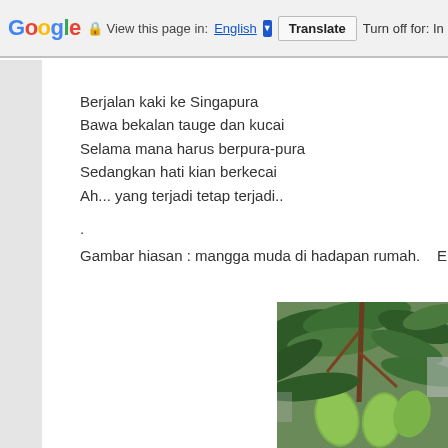Google  View this page in: English [▼]  Translate  Turn off for: In
Berjalan kaki ke Singapura
Bawa bekalan tauge dan kucai
Selama mana harus berpura-pura
Sedangkan hati kian berkecai
Ah... yang terjadi tetap terjadi..
.
Gambar hiasan : mangga muda di hadapan rumah.   Entah sempat mem
[Figure (photo): Photo of young mangoes (mangga muda) hanging on a tree branch with green leaves visible]